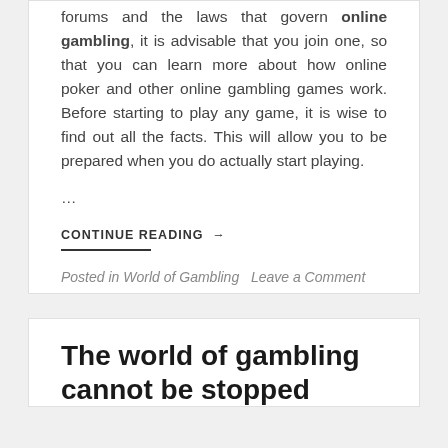forums and the laws that govern online gambling, it is advisable that you join one, so that you can learn more about how online poker and other online gambling games work. Before starting to play any game, it is wise to find out all the facts. This will allow you to be prepared when you do actually start playing.
...
CONTINUE READING →
Posted in World of Gambling   Leave a Comment
The world of gambling cannot be stopped